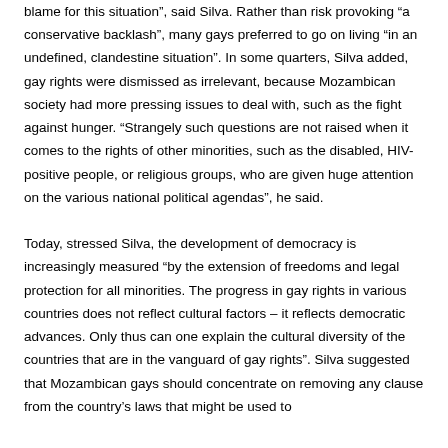blame for this situation", said Silva. Rather than risk provoking "a conservative backlash", many gays preferred to go on living "in an undefined, clandestine situation". In some quarters, Silva added, gay rights were dismissed as irrelevant, because Mozambican society had more pressing issues to deal with, such as the fight against hunger. "Strangely such questions are not raised when it comes to the rights of other minorities, such as the disabled, HIV-positive people, or religious groups, who are given huge attention on the various national political agendas", he said.
Today, stressed Silva, the development of democracy is increasingly measured "by the extension of freedoms and legal protection for all minorities. The progress in gay rights in various countries does not reflect cultural factors – it reflects democratic advances. Only thus can one explain the cultural diversity of the countries that are in the vanguard of gay rights". Silva suggested that Mozambican gays should concentrate on removing any clause from the country's laws that might be used to